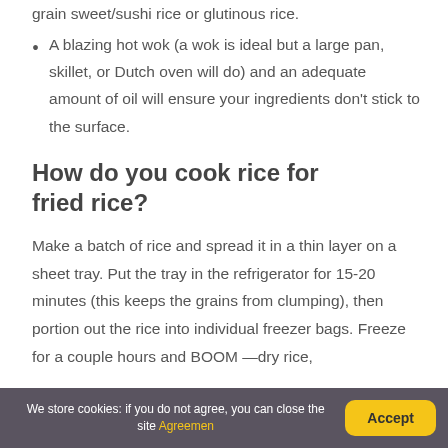grain sweet/sushi rice or glutinous rice.
A blazing hot wok (a wok is ideal but a large pan, skillet, or Dutch oven will do) and an adequate amount of oil will ensure your ingredients don't stick to the surface.
How do you cook rice for fried rice?
Make a batch of rice and spread it in a thin layer on a sheet tray. Put the tray in the refrigerator for 15-20 minutes (this keeps the grains from clumping), then portion out the rice into individual freezer bags. Freeze for a couple hours and BOOM —dry rice,
We store cookies: if you do not agree, you can close the site Agreemen  Accept